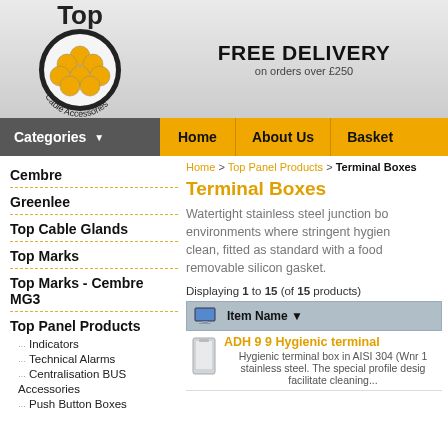[Figure (logo): Top Cable Accessories logo — circle with yellow cable cross-section, text 'Top' above and 'Cable Accessories' around the bottom]
FREE DELIVERY
on orders over £250
Categories | Home | About Us | Basket
Cembre
Greenlee
Top Cable Glands
Top Marks
Top Marks - Cembre MG3
Top Panel Products
Indicators
Technical Alarms
Centralisation BUS
Accessories
Push Button Boxes
Home > Top Panel Products > Terminal Boxes
Terminal Boxes
Watertight stainless steel junction boxes for environments where stringent hygiene is required. Easy clean, fitted as standard with a food grade approved removable silicon gasket.
Displaying 1 to 15 (of 15 products)
Item Name
ADH 9 9 Hygienic terminal
Hygienic terminal box in AISI 304 (Wnr 1.4301) stainless steel. The special profile design to facilitate cleaning...